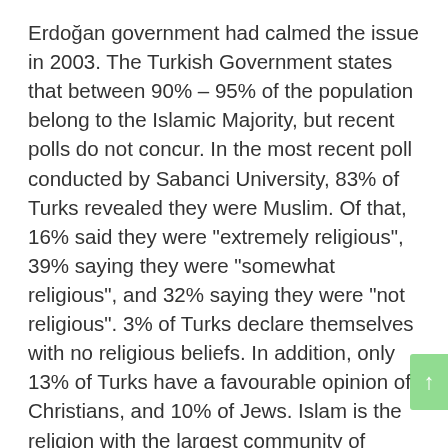Erdoğan government had calmed the issue in 2003. The Turkish Government states that between 90% – 95% of the population belong to the Islamic Majority, but recent polls do not concur. In the most recent poll conducted by Sabanci University, 83% of Turks revealed they were Muslim. Of that, 16% said they were "extremely religious", 39% saying they were "somewhat religious", and 32% saying they were "not religious". 3% of Turks declare themselves with no religious beliefs. In addition, only 13% of Turks have a favourable opinion of Christians, and 10% of Jews. Islam is the religion with the largest community of followers in the country, where most of the population is nominally Muslim, of whom over 75% belong to the Sunni branch of Islam. Over 20% of the Muslim population is Shia Alevi. There is also a small Bektashi community belonging to a Sufi order of Islam that is indigenous to Turkey, but also has numerous followers in the Balkan peninsula. More Recent Poll numbers show that Islam in Turkey is slowly declining. Islam arrived in